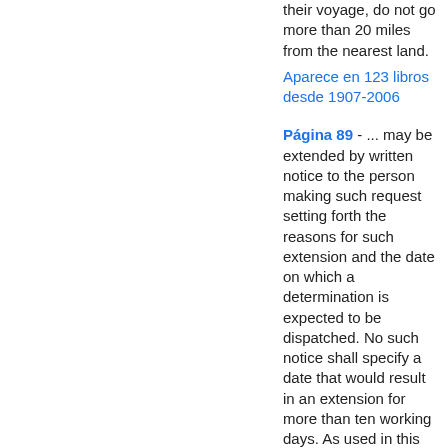their voyage, do not go more than 20 miles from the nearest land.
Aparece en 123 libros desde 1907-2006
Página 89 - ... may be extended by written notice to the person making such request setting forth the reasons for such extension and the date on which a determination is expected to be dispatched. No such notice shall specify a date that would result in an extension for more than ten working days. As used in this subparagraph, "unusual circumstances...
Aparece en 111 libros